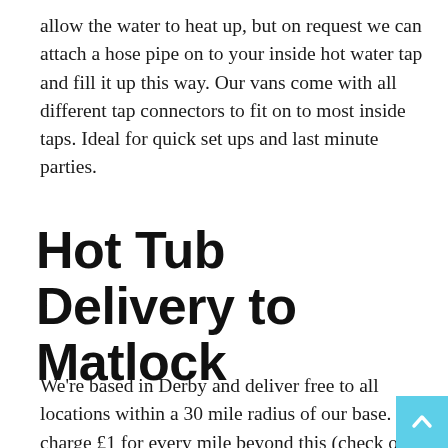allow the water to heat up, but on request we can attach a hose pipe on to your inside hot water tap and fill it up this way. Our vans come with all different tap connectors to fit on to most inside taps. Ideal for quick set ups and last minute parties.
Hot Tub Delivery to Matlock
We're based in Derby and deliver free to all locations within a 30 mile radius of our base. We charge £1 for every mile beyond this (check our delivery distance calculator for an accurate estimate). Our prices include set up chemicals